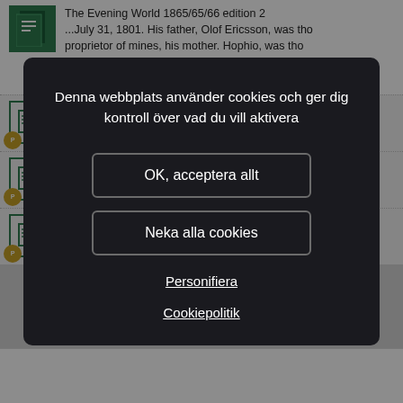The Evening World 1865/65/66 edition 2 ...July 31, 1801. His father, Olof Ericsson, was the proprietor of mines, his mother. Hophio, was the daughter of an... (New York, New York, Amerikas första states. 1801)
...d the...
...n the...
...Eric ...
1 / 685
[Figure (screenshot): Cookie consent modal dialog with dark background. Contains text 'Denna webbplats använder cookies och ger dig kontroll över vad du vill aktivera', two buttons 'OK, acceptera allt' and 'Neka alla cookies', and two links 'Personifiera' and 'Cookiepolitik'.]
Denna webbplats använder cookies och ger dig kontroll över vad du vill aktivera
OK, acceptera allt
Neka alla cookies
Personifiera
Cookiepolitik